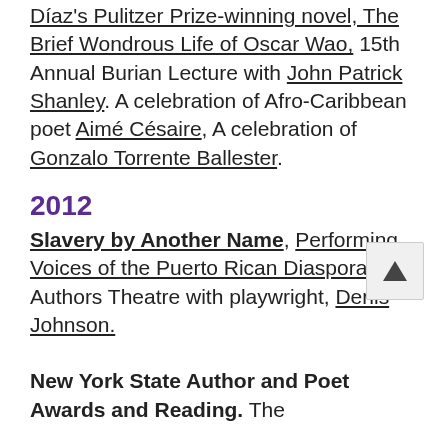Díaz's Pulitzer Prize-winning novel, The Brief Wondrous Life of Oscar Wao, 15th Annual Burian Lecture with John Patrick Shanley. A celebration of Afro-Caribbean poet Aimé Césaire, A celebration of Gonzalo Torrente Ballester.
2012
Slavery by Another Name, Performing Voices of the Puerto Rican Diaspora, Authors Theatre with playwright, Denis Johnson.
New York State Author and Poet Awards and Reading. The